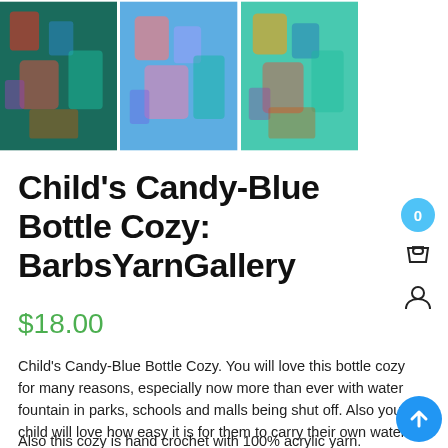[Figure (photo): Three photos of colorful crocheted bottle cozies on a wooden surface, arranged side by side.]
Child's Candy-Blue Bottle Cozy: BarbsYarnGallery
$18.00
Child's Candy-Blue Bottle Cozy. You will love this bottle cozy for many reasons, especially now more than ever with water fountain in parks, schools and malls being shut off. Also you child will love how easy it is for them to carry their own water bottle for the whole day. You get a mesh style cozy with a cross body strap which makes it hands free to carry their bottle. Also now it is easy to go on those bike rides, hikes, a day at the zoo or museum, you name it. You can find this cozy in other colors in my shop.
Also this cozy is hand crochet with 100% acrylic yarn. Fits